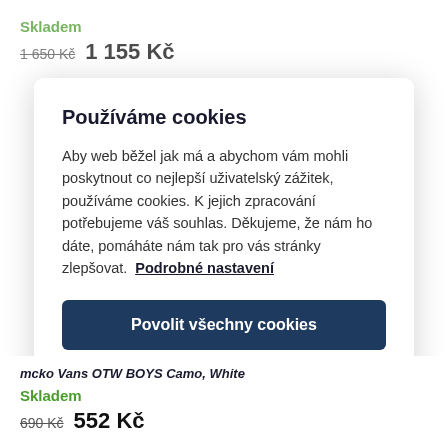Skladem
1 650 Kč  1 155 Kč
Používáme cookies
Aby web běžel jak má a abychom vám mohli poskytnout co nejlepší uživatelský zážitek, používáme cookies. K jejich zpracování potřebujeme váš souhlas. Děkujeme, že nám ho dáte, pomáháte nám tak pro vás stránky zlepšovat. Podrobné nastavení
Povolit všechny cookies
Podrobné nastavení
mcko Vans OTW Boys Camo, White
Skladem
690 Kč  552 Kč